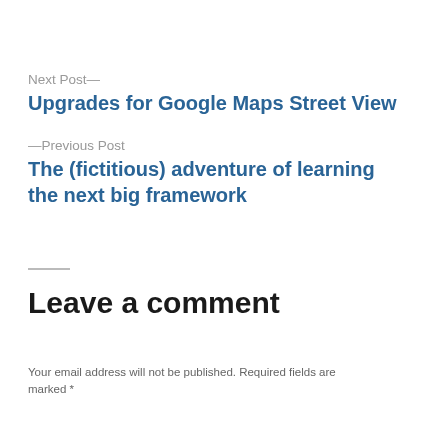Next Post—
Upgrades for Google Maps Street View
—Previous Post
The (fictitious) adventure of learning the next big framework
Leave a comment
Your email address will not be published. Required fields are marked *